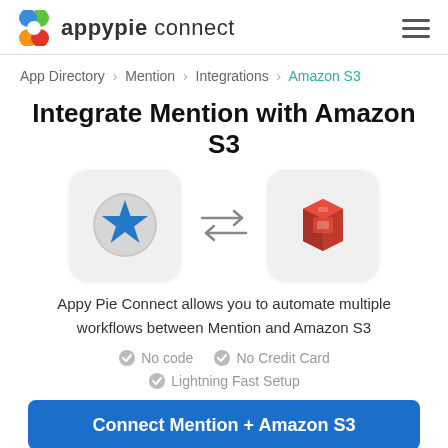appypie connect
App Directory > Mention > Integrations > Amazon S3
Integrate Mention with Amazon S3
[Figure (illustration): Two app icons — Mention (blue star on grey circle) and Amazon S3 (red AWS S3 logo) — connected by bidirectional arrows pointing right and left.]
Appy Pie Connect allows you to automate multiple workflows between Mention and Amazon S3
No code
No Credit Card
Lightning Fast Setup
Connect Mention + Amazon S3